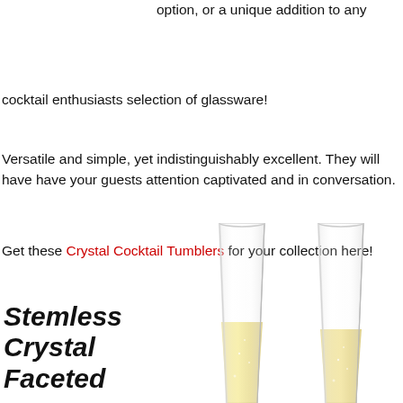option, or a unique addition to any cocktail enthusiasts selection of glassware!
Versatile and simple, yet indistinguishably excellent. They will have have your guests attention captivated and in conversation.
Get these Crystal Cocktail Tumblers for your collection here!
Stemless
Crystal
Faceted
[Figure (photo): Two stemless crystal faceted champagne flutes filled with golden champagne, side by side on a white background.]